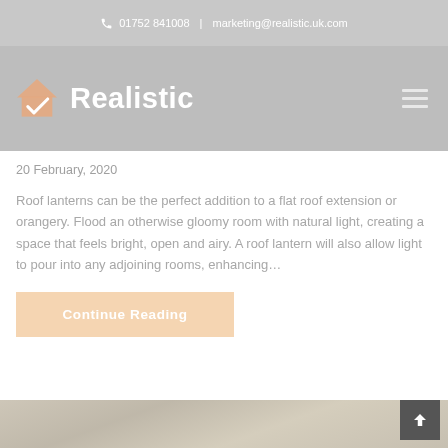📞 01752 841008  |  marketing@realistic.uk.com
[Figure (logo): Realistic company logo with house icon and checkmark, white text on grey background with hamburger menu icon on right]
20 February, 2020
Roof lanterns can be the perfect addition to a flat roof extension or orangery. Flood an otherwise gloomy room with natural light, creating a space that feels bright, open and airy. A roof lantern will also allow light to pour into any adjoining rooms, enhancing...
Continue Reading
[Figure (photo): Partial view of a building exterior at the bottom of the page]